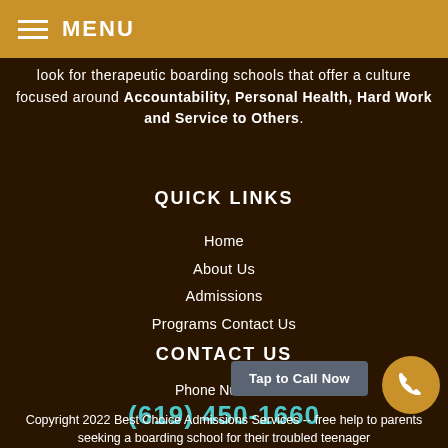MENU
look for therapeutic boarding schools that offer a culture focused around Accountability, Personal Health, Hard Work and Service to Others.
QUICK LINKS
Home
About Us
Admissions
Programs Contact Us
CONTACT US
Phone Number:
(619) 450-1660
Tap to Call Now
Copyright 2022 Best Choice Admissions Services -- free help to parents seeking a boarding school for their troubled teenager